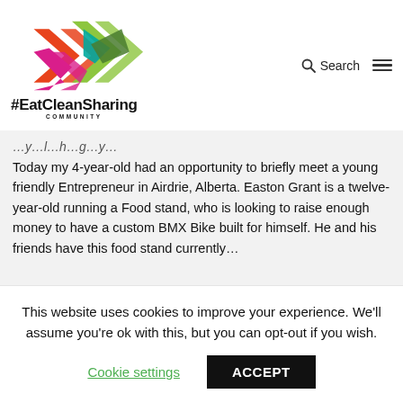[Figure (logo): EatCleanSharing Community logo — colorful geometric double-chevron shapes in orange, green, and pink/magenta, with text '#EatCleanSharing' and 'COMMUNITY' below]
Today my 4-year-old had an opportunity to briefly meet a young friendly Entrepreneur in Airdrie, Alberta. Easton Grant is a twelve-year-old running a Food stand, who is looking to raise enough money to have a custom BMX Bike built for himself. He and his friends have this food stand currently…
This website uses cookies to improve your experience. We'll assume you're ok with this, but you can opt-out if you wish.
Cookie settings
ACCEPT